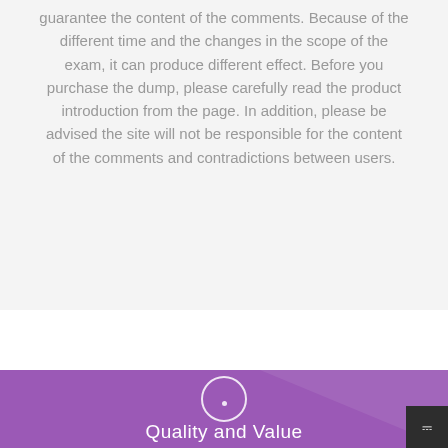guarantee the content of the comments. Because of the different time and the changes in the scope of the exam, it can produce different effect. Before you purchase the dump, please carefully read the product introduction from the page. In addition, please be advised the site will not be responsible for the content of the comments and contradictions between users.
[Figure (illustration): Purple banner section with a white circle icon containing a small dot, and text 'Quality and Value' in white at the bottom. A dark scroll/navigation button appears at the bottom right.]